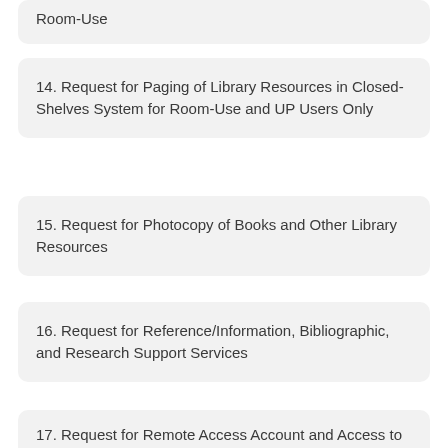Room-Use
14. Request for Paging of Library Resources in Closed-Shelves System for Room-Use and UP Users Only
15. Request for Photocopy of Books and Other Library Resources
16. Request for Reference/Information, Bibliographic, and Research Support Services
17. Request for Remote Access Account and Access to College-Based Subscriptions